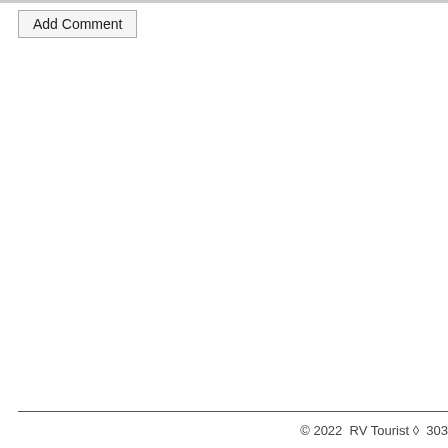Add Comment
© 2022  RV Tourist ◊  303